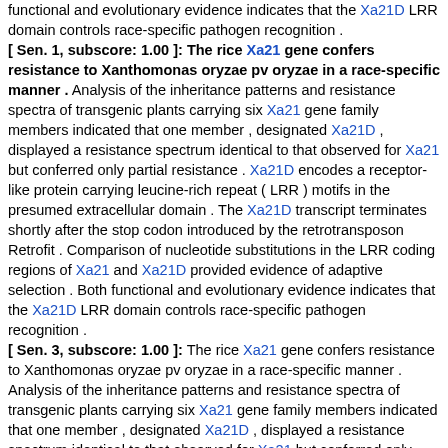functional and evolutionary evidence indicates that the Xa21D LRR domain controls race-specific pathogen recognition .
[ Sen. 1, subscore: 1.00 ]: The rice Xa21 gene confers resistance to Xanthomonas oryzae pv oryzae in a race-specific manner . Analysis of the inheritance patterns and resistance spectra of transgenic plants carrying six Xa21 gene family members indicated that one member , designated Xa21D , displayed a resistance spectrum identical to that observed for Xa21 but conferred only partial resistance . Xa21D encodes a receptor-like protein carrying leucine-rich repeat ( LRR ) motifs in the presumed extracellular domain . The Xa21D transcript terminates shortly after the stop codon introduced by the retrotransposon Retrofit . Comparison of nucleotide substitutions in the LRR coding regions of Xa21 and Xa21D provided evidence of adaptive selection . Both functional and evolutionary evidence indicates that the Xa21D LRR domain controls race-specific pathogen recognition .
[ Sen. 3, subscore: 1.00 ]: The rice Xa21 gene confers resistance to Xanthomonas oryzae pv oryzae in a race-specific manner . Analysis of the inheritance patterns and resistance spectra of transgenic plants carrying six Xa21 gene family members indicated that one member , designated Xa21D , displayed a resistance spectrum identical to that observed for Xa21 but conferred only partial resistance . Xa21D encodes a receptor-like protein carrying leucine-rich repeat ( LRR ) motifs in the presumed extracellular domain . The Xa21D transcript terminates shortly after the stop codon introduced by the retrotransposon Retrofit . Comparison of nucleotide substitutions in the LRR coding regions of Xa21 and Xa21D provided evidence of adaptive selection . Both functional and evolutionary evidence indicates that the Xa21D LRR domain controls race-specific pathogen recognition .
[ Sen. 4, subscore: 1.00 ]: The rice Xa21 gene confers resistance to Xanthomonas oryzae pv oryzae in a race-specific manner . Analysis of the inheritance patterns and resistance spectra of transgenic plants carrying six Xa21 gene family members indicated that one member ,